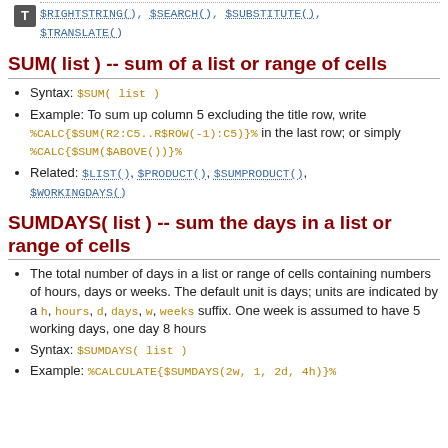$RIGHTSTRING(), $SEARCH(), $SUBSTITUTE(), $TRANSLATE()
SUM( list ) -- sum of a list or range of cells
Syntax: $SUM( list )
Example: To sum up column 5 excluding the title row, write %CALC{$SUM(R2:C5..R$ROW(-1):C5)}% in the last row; or simply %CALC{$SUM($ABOVE())}%
Related: $LIST(), $PRODUCT(), $SUMPRODUCT(), $WORKINGDAYS()
SUMDAYS( list ) -- sum the days in a list or range of cells
The total number of days in a list or range of cells containing numbers of hours, days or weeks. The default unit is days; units are indicated by a h, hours, d, days, w, weeks suffix. One week is assumed to have 5 working days, one day 8 hours
Syntax: $SUMDAYS( list )
Example: %CALCULATE{$SUMDAYS(2w, 1, 2d, 4h)}%